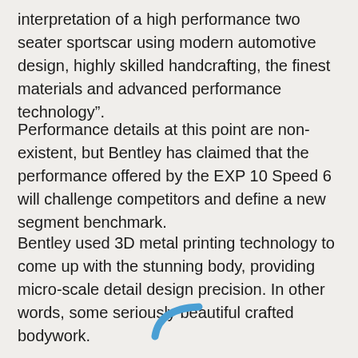interpretation of a high performance two seater sportscar using modern automotive design, highly skilled handcrafting, the finest materials and advanced performance technology”.
Performance details at this point are non-existent, but Bentley has claimed that the performance offered by the EXP 10 Speed 6 will challenge competitors and define a new segment benchmark.
Bentley used 3D metal printing technology to come up with the stunning body, providing micro-scale detail design precision. In other words, some seriously beautiful crafted bodywork.
[Figure (illustration): A blue curved phone/handset icon at the bottom center of the page]